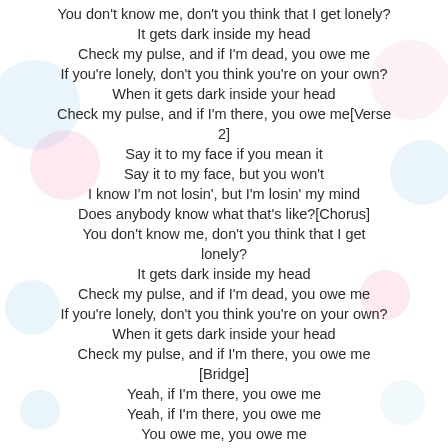You don't know me, don't you think that I get lonely?
It gets dark inside my head
Check my pulse, and if I'm dead, you owe me
If you're lonely, don't you think you're on your own?
When it gets dark inside your head
Check my pulse, and if I'm there, you owe me[Verse 2]
Say it to my face if you mean it
Say it to my face, but you won't
I know I'm not losin', but I'm losin' my mind
Does anybody know what that's like?[Chorus]
You don't know me, don't you think that I get lonely?
It gets dark inside my head
Check my pulse, and if I'm dead, you owe me
If you're lonely, don't you think you're on your own?
When it gets dark inside your head
Check my pulse, and if I'm there, you owe me
[Bridge]
Yeah, if I'm there, you owe me
Yeah, if I'm there, you owe me
You owe me, you owe me
You owe me, you owe me